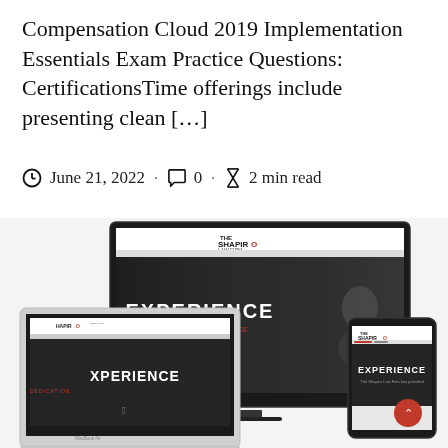Compensation Cloud 2019 Implementation Essentials Exam Practice Questions: CertificationsTime offerings include presenting clean […]
June 21, 2022 · 0 · 2 min read
[Figure (screenshot): Screenshot showing a law firm website (The Shapiro Law Firm) displayed across three devices: a desktop monitor, a laptop (MacBook), and a mobile phone. Each device shows the website with 'EXPERIENCE' as a headline and professional photos. The website has a dark hero section with black and white photography of suited professionals.]